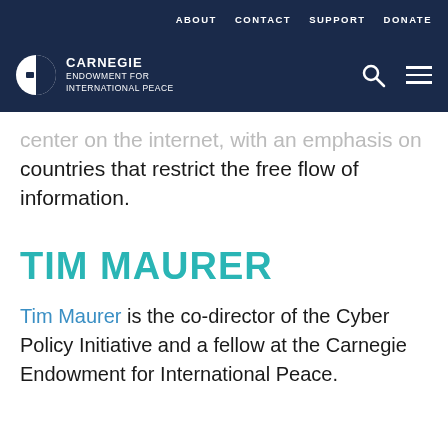ABOUT   CONTACT   SUPPORT   DONATE
[Figure (logo): Carnegie Endowment for International Peace logo with navigation icons (search, menu)]
...center on the internet, with an emphasis on countries that restrict the free flow of information.
TIM MAURER
Tim Maurer is the co-director of the Cyber Policy Initiative and a fellow at the Carnegie Endowment for International Peace.